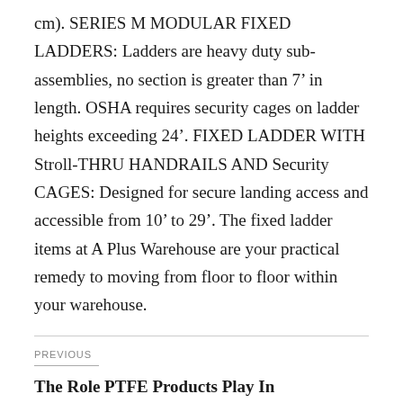cm). SERIES M MODULAR FIXED LADDERS: Ladders are heavy duty sub-assemblies, no section is greater than 7’ in length. OSHA requires security cages on ladder heights exceeding 24’. FIXED LADDER WITH Stroll-THRU HANDRAILS AND Security CAGES: Designed for secure landing access and accessible from 10’ to 29’. The fixed ladder items at A Plus Warehouse are your practical remedy to moving from floor to floor within your warehouse.
PREVIOUS
The Role PTFE Products Play In Manufacturing PVC Windows